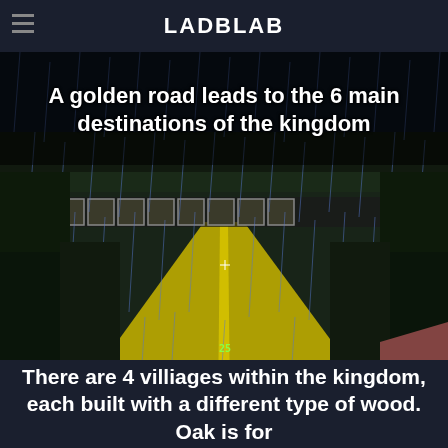LADBLAB
[Figure (screenshot): Minecraft game screenshot showing a golden (yellow) road stretching into the distance through a dark, rainy landscape with dark trees on either side. The player's hotbar is visible at the bottom of the screen. Rain streaks are visible throughout.]
A golden road leads to the 6 main destinations of the kingdom
There are 4 villiages within the kingdom, each built with a different type of wood. Oak is for